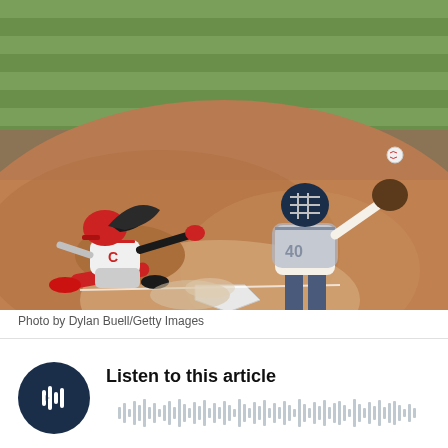[Figure (photo): Baseball action photo showing a Cincinnati Reds baserunner sliding into home plate while a Milwaukee Brewers catcher (number 40) prepares to receive the throw. The ball can be seen in mid-air to the right. The scene takes place on a baseball diamond with a green grass outfield in the background.]
Photo by Dylan Buell/Getty Images
[Figure (other): Audio player widget with a dark navy circular play button icon on the left, the label 'Listen to this article' in bold, and an audio waveform visualization bar below the label.]